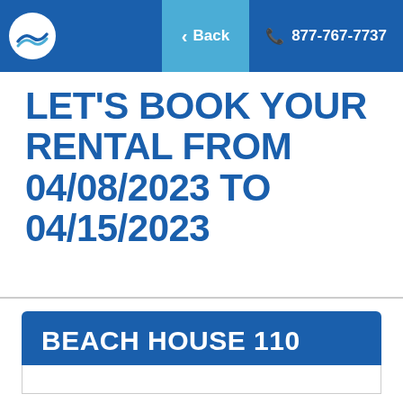Back  877-767-7737
LET'S BOOK YOUR RENTAL FROM 04/08/2023 TO 04/15/2023
BEACH HOUSE 110